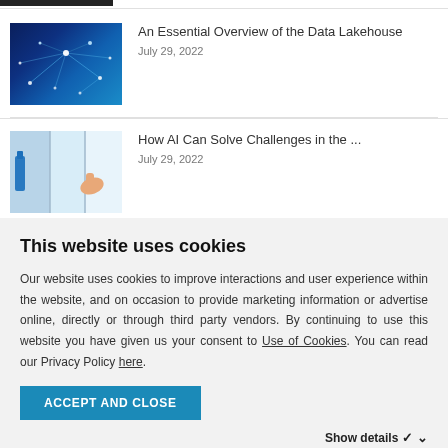[Figure (photo): Thumbnail: blue digital network with glowing nodes and connecting lines on dark background]
An Essential Overview of the Data Lakehouse
July 29, 2022
[Figure (photo): Thumbnail: person cleaning glass surface with blue cleaning products visible]
How AI Can Solve Challenges in the ...
July 29, 2022
This website uses cookies
Our website uses cookies to improve interactions and user experience within the website, and on occasion to provide marketing information or advertise online, directly or through third party vendors. By continuing to use this website you have given us your consent to Use of Cookies. You can read our Privacy Policy here.
ACCEPT AND CLOSE
Show details  ∨
✓ Necessary  Preferences  Statistics  Marketing